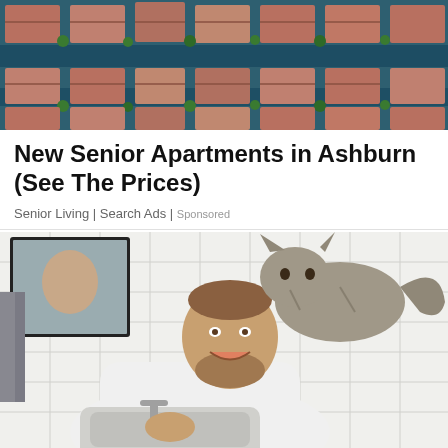[Figure (photo): Aerial view of waterfront residential neighborhood with red-roofed houses and canals lined with palm trees]
New Senior Apartments in Ashburn (See The Prices)
Senior Living | Search Ads | Sponsored
[Figure (photo): Man in white shirt washing hands at bathroom sink while a tabby cat sits on his back and looks down at him; white subway tile walls, mirror, and gray towel visible]
Top 18 Reasons Why Cats Follow Us to The